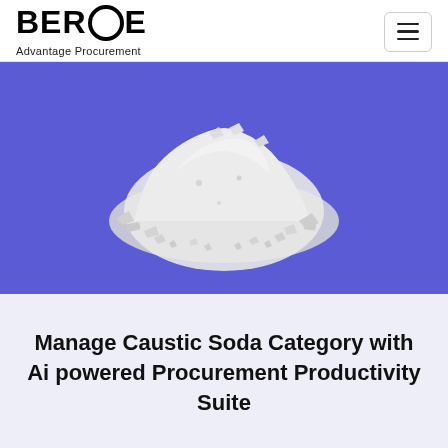BEROE Advantage Procurement
[Figure (photo): A pile of white caustic soda flakes/crystals on a blue/purple background]
Manage Caustic Soda Category with Ai powered Procurement Productivity Suite